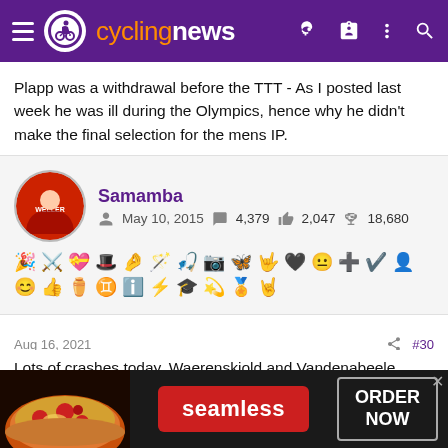cyclingnews
Plapp was a withdrawal before the TTT - As I posted last week he was ill during the Olympics, hence why he didn't make the final selection for the mens IP.
Samamba
May 10, 2015  4,379  2,047  18,680
Aug 16, 2021  #30
Lots of crashes today. Waerenskjold and Vandenabeele down. Waerenskjold retired.
[Figure (screenshot): Seamless food delivery advertisement banner with pizza image, red Seamless logo button, and ORDER NOW button on dark background]